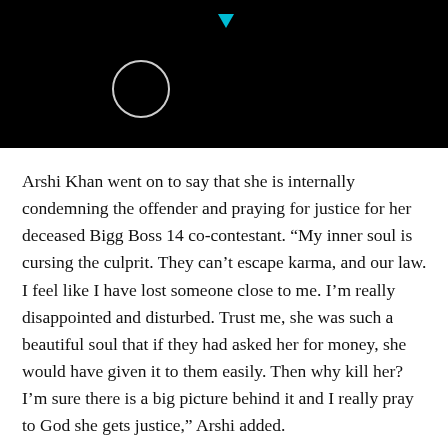[Figure (screenshot): Black header area with a circular outline icon and a small cyan triangle/play indicator at the top center]
Arshi Khan went on to say that she is internally condemning the offender and praying for justice for her deceased Bigg Boss 14 co-contestant. “My inner soul is cursing the culprit. They can’t escape karma, and our law. I feel like I have lost someone close to me. I’m really disappointed and disturbed. Trust me, she was such a beautiful soul that if they had asked her for money, she would have given it to them easily. Then why kill her? I’m sure there is a big picture behind it and I really pray to God she gets justice,” Arshi added.